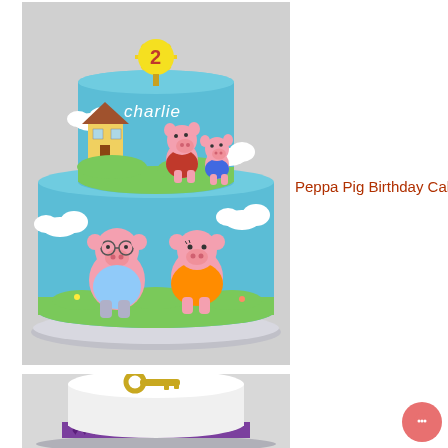[Figure (photo): A two-tiered Peppa Pig birthday cake decorated with blue fondant, featuring Peppa Pig characters, clouds, green grass, a yellow house, and a yellow sun topper with the number 2 and the name 'charlie' written on the top tier.]
Peppa Pig Birthday Cake
[Figure (photo): A white fondant-covered round cake with purple heart decorations around the base and a gold key decoration on top.]